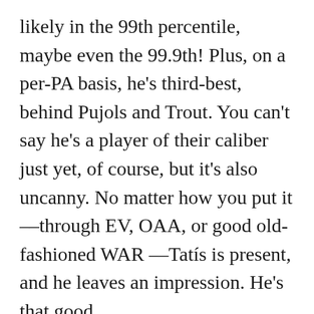likely in the 99th percentile, maybe even the 99.9th! Plus, on a per-PA basis, he's third-best, behind Pujols and Trout. You can't say he's a player of their caliber just yet, of course, but it's also uncanny. No matter how you put it -- through EV, OAA, or good old-fashioned WAR -- Tatís is present, and he leaves an impression. He's that good.
There's a lot to think about Tatís and his new contract in terms of value, risk, and future performance, but I'm not adept at analyzing those elements. What I can say, though, is that he appears to be a generational-type talent